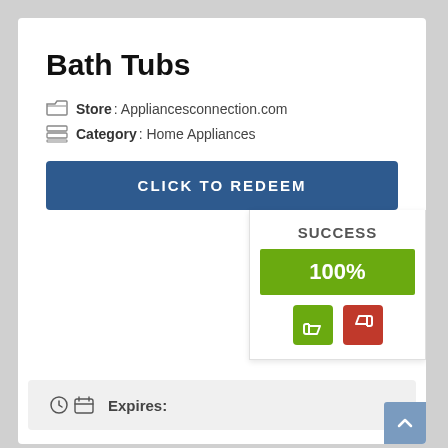Bath Tubs
Store: Appliancesconnection.com
Category: Home Appliances
CLICK TO REDEEM
[Figure (infographic): SUCCESS panel showing 100% success rate with green thumbs up and red thumbs down buttons]
Expires:
Coupon Details
Bath Tubs